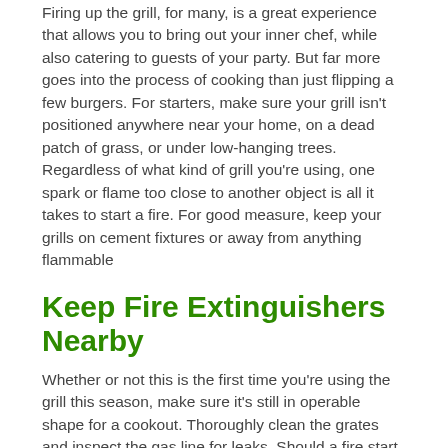Firing up the grill, for many, is a great experience that allows you to bring out your inner chef, while also catering to guests of your party. But far more goes into the process of cooking than just flipping a few burgers. For starters, make sure your grill isn't positioned anywhere near your home, on a dead patch of grass, or under low-hanging trees. Regardless of what kind of grill you're using, one spark or flame too close to another object is all it takes to start a fire. For good measure, keep your grills on cement fixtures or away from anything flammable
Keep Fire Extinguishers Nearby
Whether or not this is the first time you're using the grill this season, make sure it's still in operable shape for a cookout. Thoroughly clean the grates and inspect the gas line for leaks. Should a fire start from faulty lines or too much grease, you'll need something to help extinguish the issue. A small fire extinguisher is always great to keep nearby, and can suppress an issue before it becomes unmanageable and damaging -- just make sure your fire extinguisher is appropriately rated for this particular situation.
Of course, there are always circumstances that you're